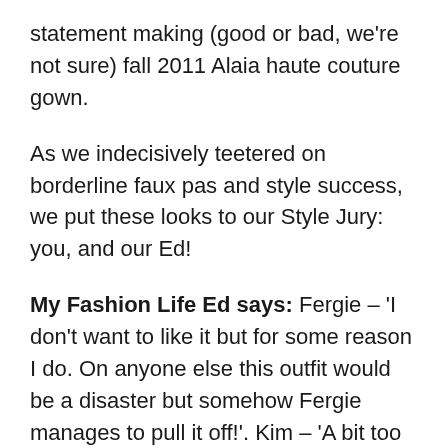statement making (good or bad, we're not sure) fall 2011 Alaia haute couture gown.
As we indecisively teetered on borderline faux pas and style success, we put these looks to our Style Jury: you, and our Ed!
My Fashion Life Ed says: Fergie – 'I don't want to like it but for some reason I do. On anyone else this outfit would be a disaster but somehow Fergie manages to pull it off!'. Kim – 'A bit too much cleavage on show but regardless Kim looks gorgeous and elegant. The dress clings to her curves in all the right places!'. Berenice Bejo – 'Sophisticated and beautiful! Love the dress and I love Berenice in the dress. The dress...'